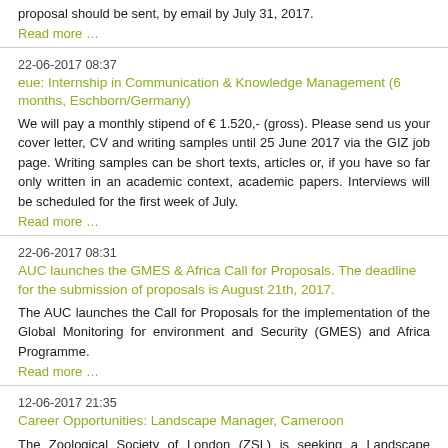proposal should be sent, by email by July 31, 2017.
Read more …
22-06-2017 08:37
eue: Internship in Communication & Knowledge Management (6 months, Eschborn/Germany)
We will pay a monthly stipend of € 1.520,- (gross). Please send us your cover letter, CV and writing samples until 25 June 2017 via the GIZ job page. Writing samples can be short texts, articles or, if you have so far only written in an academic context, academic papers. Interviews will be scheduled for the first week of July.
Read more …
22-06-2017 08:31
AUC launches the GMES & Africa Call for Proposals. The deadline for the submission of proposals is August 21th, 2017.
The AUC launches the Call for Proposals for the implementation of the Global Monitoring for environment and Security (GMES) and Africa Programme.
Read more …
12-06-2017 21:35
Career Opportunities: Landscape Manager, Cameroon
The Zoological Society of London (ZSL) is seeking a Landscape Manager with extensive and relevant management and technical experience, to ensure the effective delivery of ZSL's exciting and rapidly expanding programme of work in and around the Dja Reserve.
Read more …
12-06-2017 21:31
Career Opportunities: Regional Programme Manager, Wildlife Programmes